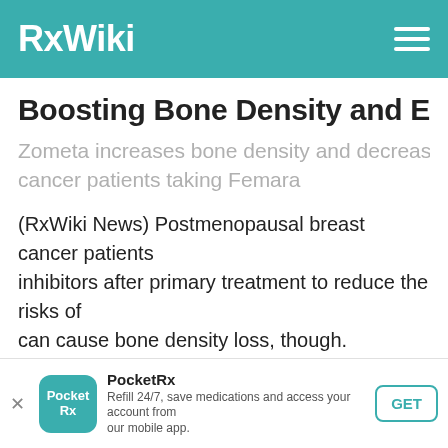RxWiki
Boosting Bone Density and Extend...
Zometa increases bone density and decreases di... cancer patients taking Femara
(RxWiki News) Postmenopausal breast cancer patients... inhibitors after primary treatment to reduce the risks of... can cause bone density loss, though.
Researchers have demonstrated a drug not only decre... benefits.
PocketRx — Refill 24/7, save medications and access your account from our mobile app. GET